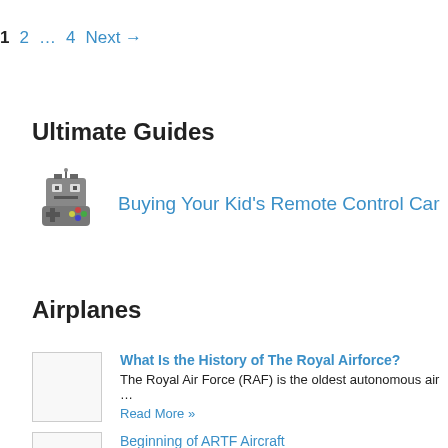1   2   …   4   Next →
Ultimate Guides
[Figure (illustration): Pixel art icon of a robot/RC car controller character]
Buying Your Kid's Remote Control Car
Airplanes
[Figure (photo): Thumbnail image placeholder for Royal Airforce article]
What Is the History of The Royal Airforce?
The Royal Air Force (RAF) is the oldest autonomous air …
Read More »
Beginning of ARTF Aircraft